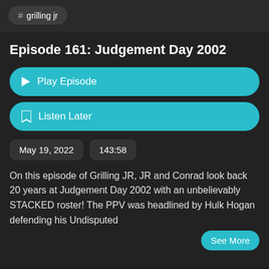# grilling jr
Episode 161: Judgement Day 2002
Play Episode
Listen Later
May 19, 2022
143:58
On this episode of Grilling JR, JR and Conrad look back 20 years at Judgement Day 2002 with an unbelievably STACKED roster! The PPV was headlined by Hulk Hogan defending his Undisputed
See More
# head  # offer  # tickets